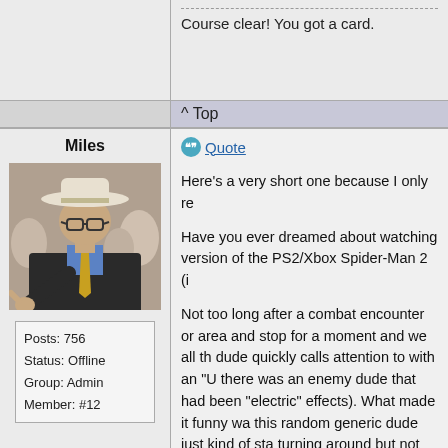Course clear! You got a card.
^ Top
Miles
[Figure (photo): Avatar photo of a man wearing a white cowboy hat, glasses, blue shirt and gold tie, pointing at the camera]
Posts: 756
Status: Offline
Group: Admin
Member: #12
Quote
Here's a very short one because I only re

Have you ever dreamed about watching version of the PS2/Xbox Spider-Man 2 (i

Not too long after a combat encounter or area and stop for a moment and we all th dude quickly calls attention to with an "U there was an enemy dude that had been "electric" effects). What made it funny wa this random generic dude just kind of sta turning around but not ever really moving apparently wasn't developed with that sit is getting stepped all over by a random d